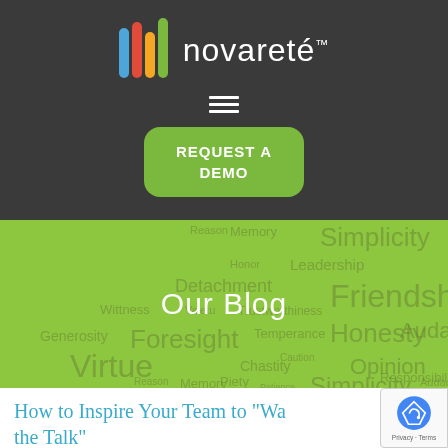[Figure (logo): Novareté logo with colorful vertical bars and white text]
[Figure (other): Hamburger menu icon (three horizontal white lines)]
REQUEST A DEMO
[Figure (infographic): Green background word cloud with virtue words and 'Our Blog' title overlay]
How to Inspire Your Team to "Walk the Talk"
[Figure (other): reCAPTCHA badge with Privacy and Terms]